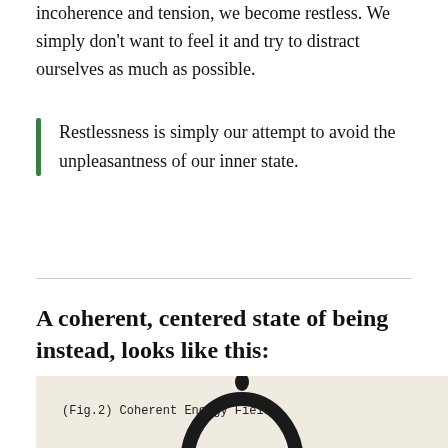incoherence and tension, we become restless. We simply don't want to feel it and try to distract ourselves as much as possible.
Restlessness is simply our attempt to avoid the unpleasantness of our inner state.
A coherent, centered state of being instead, looks like this:
[Figure (photo): A scanned diagram labeled '(Fig.2) Coherent Energy Field' showing a figure with a coherent circular energy field around the head/body area, depicted as a thick oval ring shape on aged/cream paper background.]